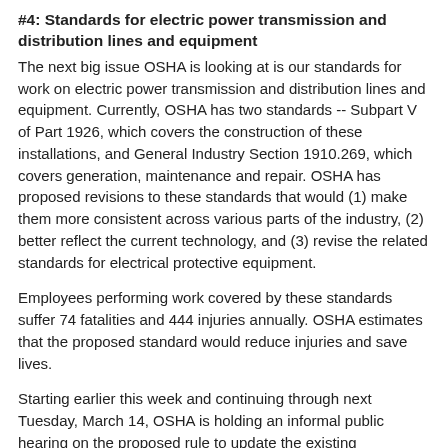#4: Standards for electric power transmission and distribution lines and equipment
The next big issue OSHA is looking at is our standards for work on electric power transmission and distribution lines and equipment. Currently, OSHA has two standards -- Subpart V of Part 1926, which covers the construction of these installations, and General Industry Section 1910.269, which covers generation, maintenance and repair. OSHA has proposed revisions to these standards that would (1) make them more consistent across various parts of the industry, (2) better reflect the current technology, and (3) revise the related standards for electrical protective equipment.
Employees performing work covered by these standards suffer 74 fatalities and 444 injuries annually. OSHA estimates that the proposed standard would reduce injuries and save lives.
Starting earlier this week and continuing through next Tuesday, March 14, OSHA is holding an informal public hearing on the proposed rule to update the existing standards. An Administrative Law Judge will set a post -- hearing comment period as well, and from this record we'll develop a final standard.